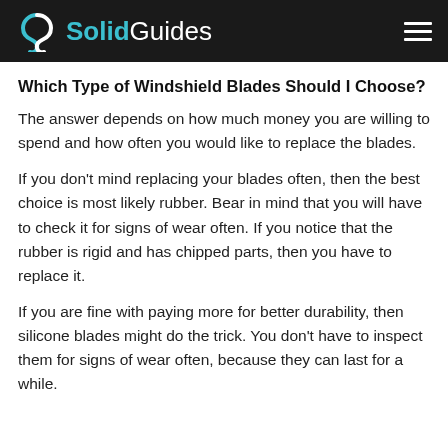SolidGuides
Which Type of Windshield Blades Should I Choose?
The answer depends on how much money you are willing to spend and how often you would like to replace the blades.
If you don't mind replacing your blades often, then the best choice is most likely rubber. Bear in mind that you will have to check it for signs of wear often. If you notice that the rubber is rigid and has chipped parts, then you have to replace it.
If you are fine with paying more for better durability, then silicone blades might do the trick. You don't have to inspect them for signs of wear often, because they can last for a while.